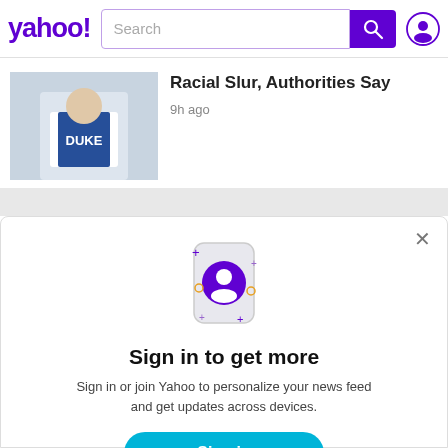yahoo! Search
Racial Slur, Authorities Say
9h ago
[Figure (photo): Duke basketball player in white and blue Duke jersey]
Sign in to get more
Sign in or join Yahoo to personalize your news feed and get updates across devices.
Sign in
Sign up